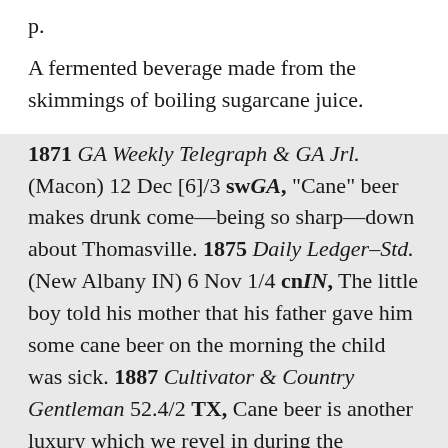p.
A fermented beverage made from the skimmings of boiling sugarcane juice.
1871 GA Weekly Telegraph & GA Jrl. (Macon) 12 Dec [6]/3 swGA, “Cane” beer makes drunk come—being so sharp—down about Thomasville. 1875 Daily Ledger-Std. (New Albany IN) 6 Nov 1/4 cnIN, The little boy told his mother that his father gave him some cane beer on the morning the child was sick. 1887 Cultivator & Country Gentleman 52.4/2 TX, Cane beer is another luxury which we revel in during the grinding season. This is simply partly-boiled cane juice, which is skimmed from the boiling kettles, put into a barrel and fermented. In a week’s time it makes a fine, wholesome and palatable beverage. 1918 Herring Sat. Night Sketches 38 csGA, In